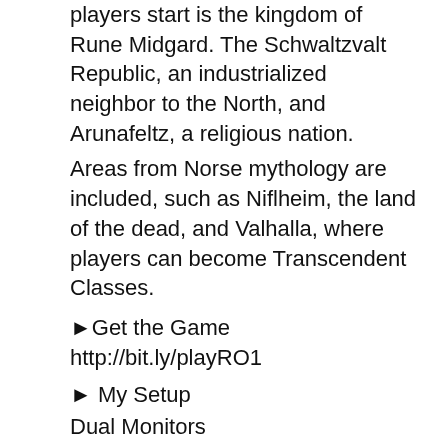players start is the kingdom of Rune Midgard. The Schwaltzvalt Republic, an industrialized neighbor to the North, and Arunafeltz, a religious nation. Areas from Norse mythology are included, such as Niflheim, the land of the dead, and Valhalla, where players can become Transcendent Classes.
►Get the Game http://bit.ly/playRO1
► My Setup
Dual Monitors http://amzn.to/2lqo52j
Mic \u0026 Arm http://amzn.to/2kVuyVY
Desk http://amzn.to/2lmCal4 (red/black)
Chair http://amzn.to/2kK8awg
Lighting http://amzn.to/2kJZPsQ
Webcam http://amzn.to/2kQQBx7
Keyboard http://amzn.to/2lmu9N1